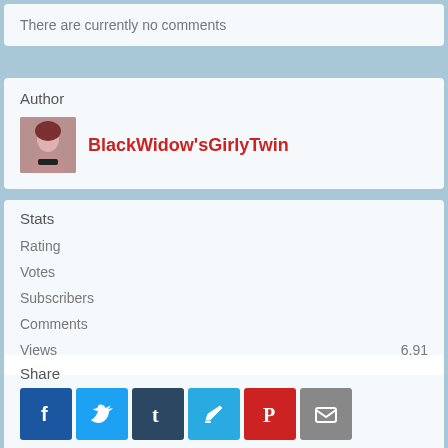There are currently no comments
Author
BlackWidow'sGirlyTwin
Stats
Rating
Votes
Subscribers
Comments
Views	6,91
Share